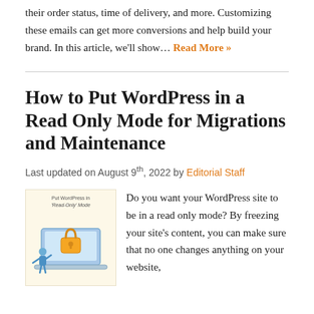their order status, time of delivery, and more. Customizing these emails can get more conversions and help build your brand. In this article, we'll show… Read More »
How to Put WordPress in a Read Only Mode for Migrations and Maintenance
Last updated on August 9th, 2022 by Editorial Staff
[Figure (illustration): Illustration of a laptop with a padlock and a person, with text 'Put WordPress in Read-Only Mode']
Do you want your WordPress site to be in a read only mode? By freezing your site's content, you can make sure that no one changes anything on your website,